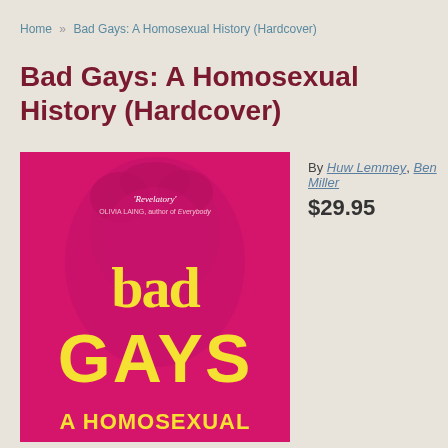Home » Bad Gays: A Homosexual History (Hardcover)
Bad Gays: A Homosexual History (Hardcover)
[Figure (photo): Book cover of Bad Gays: A Homosexual History. Hot pink/magenta background with a classical stone bust face. Large yellow blackletter text reads 'bad gays' and below in large yellow bold serif 'GAYS'. Bottom text reads 'A HOMOSEXUAL'. Top text in white: 'Revelatory' OLIVIA LAING, author of Everybody.]
By Huw Lemmey, Ben Miller
$29.95